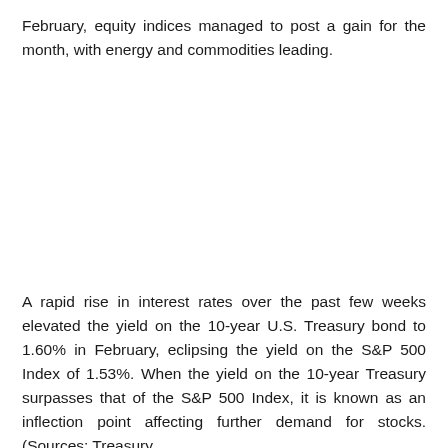February, equity indices managed to post a gain for the month, with energy and commodities leading.
A rapid rise in interest rates over the past few weeks elevated the yield on the 10-year U.S. Treasury bond to 1.60% in February, eclipsing the yield on the S&P 500 Index of 1.53%. When the yield on the 10-year Treasury surpasses that of the S&P 500 Index, it is known as an inflection point affecting further demand for stocks. (Sources: Treasury,